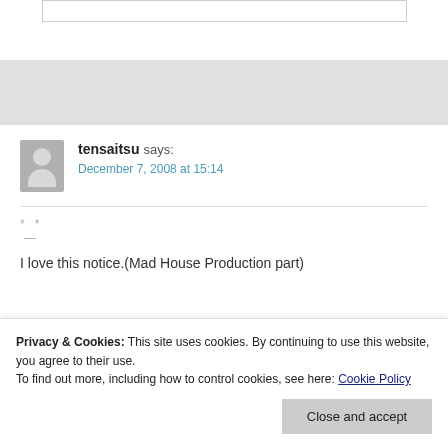[Figure (other): Gray top banner/navigation area with input box]
tensaitsu says:
December 7, 2008 at 15:14
* *
—
I love this notice.(Mad House Production part)
Privacy & Cookies: This site uses cookies. By continuing to use this website, you agree to their use.
To find out more, including how to control cookies, see here: Cookie Policy
Close and accept